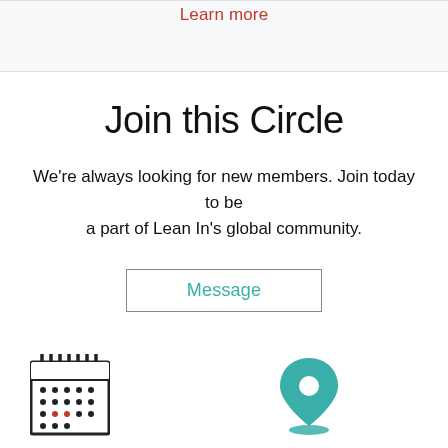Learn more
Join this Circle
We're always looking for new members. Join today to be a part of Lean In's global community.
Message
[Figure (illustration): Calendar icon with dots representing dates and a red dot]
[Figure (illustration): Teal location pin / map marker icon]